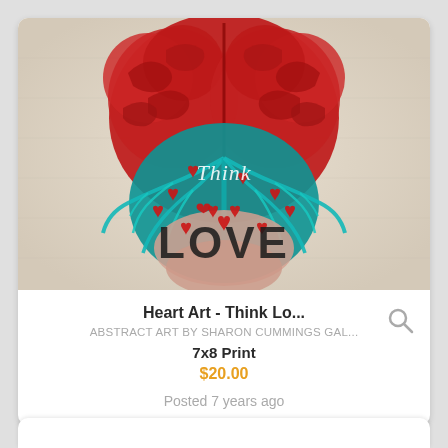[Figure (illustration): Colorful artistic illustration of a human brain viewed from above, with red heart-shaped lobes and teal/turquoise neural branches containing small red hearts scattered throughout. Text 'Think' appears in white italic script in the center, and 'LOVE' appears in large bold dark letters at the bottom of the brain. Background is a faded vintage paper texture.]
Heart Art - Think Lo...
ABSTRACT ART BY SHARON CUMMINGS GAL...
7x8 Print
$20.00
Posted 7 years ago